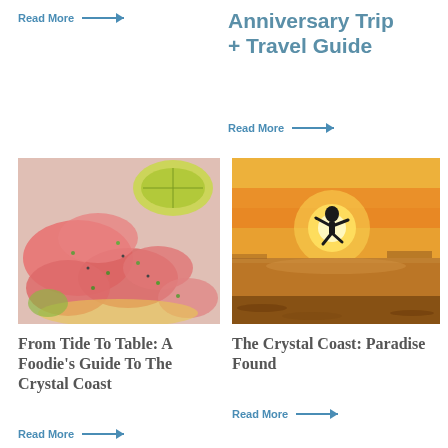Read More →
Anniversary Trip + Travel Guide
Read More →
[Figure (photo): Close-up of tuna or fish poke dish with lime wedge and herbs]
[Figure (photo): Silhouette of person jumping on a beach at sunset]
From Tide To Table: A Foodie's Guide To The Crystal Coast
The Crystal Coast: Paradise Found
Read More →
Read More →